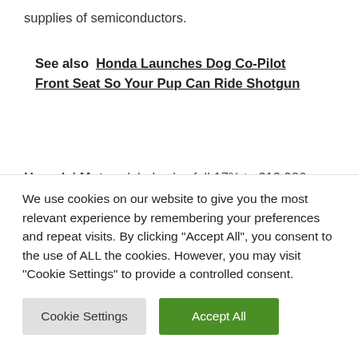supplies of semiconductors.
See also  Honda Launches Dog Co-Pilot Front Seat So Your Pup Can Ride Shotgun
Hyundai Motor global sales fell 17% to 313,926 vehicles in March from 378,246 a year earlier, with domestic and overseas sales both sharply lower which the automaker blamed on continued shortages of components, rising raw material costs and the resurgence of the Covid pandemic. Q1 global sales were almost 10% lower at
We use cookies on our website to give you the most relevant experience by remembering your preferences and repeat visits. By clicking "Accept All", you consent to the use of ALL the cookies. However, you may visit "Cookie Settings" to provide a controlled consent.
Cookie Settings
Accept All